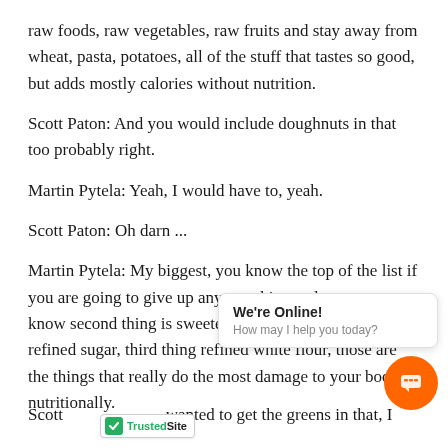raw foods, raw vegetables, raw fruits and stay away from wheat, pasta, potatoes, all of the stuff that tastes so good, but adds mostly calories without nutrition.
Scott Paton: And you would include doughnuts in that too probably right.
Martin Pytela: Yeah, I would have to, yeah.
Scott Paton: Oh darn ...
Martin Pytela: My biggest, you know the top of the list if you are going to give up any one thing soda pops, you know second thing is sweetening with sugar, you know refined sugar, third thing refined white flour, those are the things that really do the most damage to your body, nutritionally.
Scott  wanted to get the greens in that, I